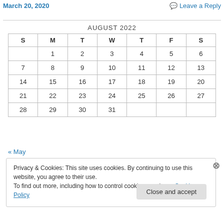March 20, 2020   Leave a Reply
| S | M | T | W | T | F | S |
| --- | --- | --- | --- | --- | --- | --- |
|  | 1 | 2 | 3 | 4 | 5 | 6 |
| 7 | 8 | 9 | 10 | 11 | 12 | 13 |
| 14 | 15 | 16 | 17 | 18 | 19 | 20 |
| 21 | 22 | 23 | 24 | 25 | 26 | 27 |
| 28 | 29 | 30 | 31 |  |  |  |
« May
Privacy & Cookies: This site uses cookies. By continuing to use this website, you agree to their use. To find out more, including how to control cookies, see here: Cookie Policy
Close and accept